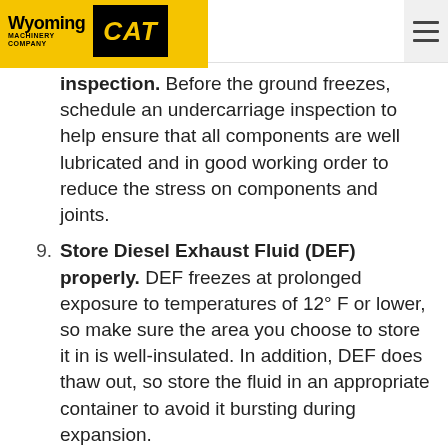Wyoming Machinery Company CAT
inspection. Before the ground freezes, schedule an undercarriage inspection to help ensure that all components are well lubricated and in good working order to reduce the stress on components and joints.
Store Diesel Exhaust Fluid (DEF) properly. DEF freezes at prolonged exposure to temperatures of 12° F or lower, so make sure the area you choose to store it in is well-insulated. In addition, DEF does thaw out, so store the fluid in an appropriate container to avoid it bursting during expansion.